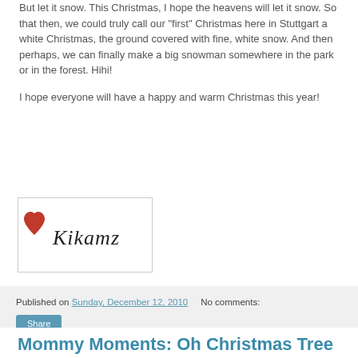But let it snow. This Christmas, I hope the heavens will let it snow. So that then, we could truly call our "first" Christmas here in Stuttgart a white Christmas, the ground covered with fine, white snow. And then perhaps, we can finally make a big snowman somewhere in the park or in the forest. Hihi!
I hope everyone will have a happy and warm Christmas this year!
[Figure (illustration): A handwritten-style signature reading 'Kikamz' with a red heart graphic to the left, inside a light gray bordered box.]
Published on Sunday, December 12, 2010   No comments:
Share
Mommy Moments: Oh Christmas Tree